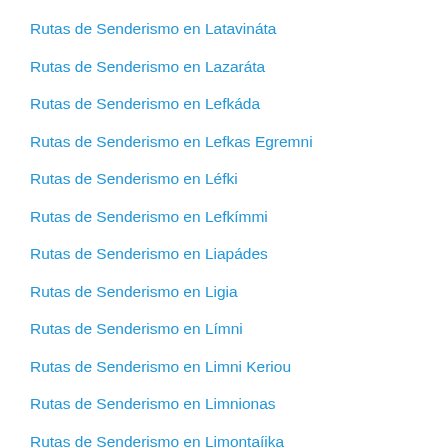Rutas de Senderismo en Latavinata
Rutas de Senderismo en Lazarata
Rutas de Senderismo en Lefkada
Rutas de Senderismo en Lefkas Egremni
Rutas de Senderismo en Lefki
Rutas de Senderismo en Lefkimmi
Rutas de Senderismo en Liapades
Rutas de Senderismo en Ligia
Rutas de Senderismo en Limni
Rutas de Senderismo en Limni Keriou
Rutas de Senderismo en Limnionas
Rutas de Senderismo en Limontaika
Rutas de Senderismo en Linia